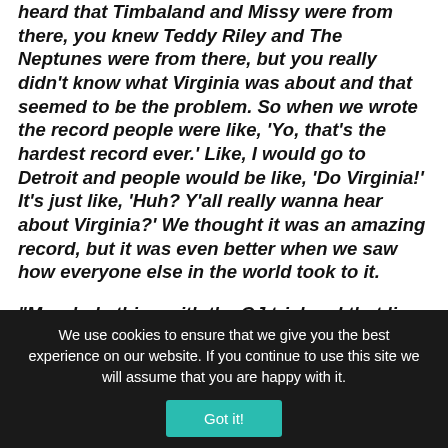heard that Timbaland and Missy were from there, you knew Teddy Riley and The Neptunes were from there, but you really didn't know what Virginia was about and that seemed to be the problem. So when we wrote the record people were like, 'Yo, that's the hardest record ever.' Like, I would go to Detroit and people would be like, 'Do Virginia!' It's just like, 'Huh? Y'all really wanna hear about Virginia?' We thought it was an amazing record, but it was even better when we saw how everyone else in the world took to it.
“My whole thing with the OJ trial and that line was that everybody was in such an uproar over it. I’m definitely not saying that OJ killed that woman because I see what the justice system sees. It happens all the time, people kill people and they get off. I’m not the one that’s gonna sit around and say he did kill her. I
We use cookies to ensure that we give you the best experience on our website. If you continue to use this site we will assume that you are happy with it.
Got it!